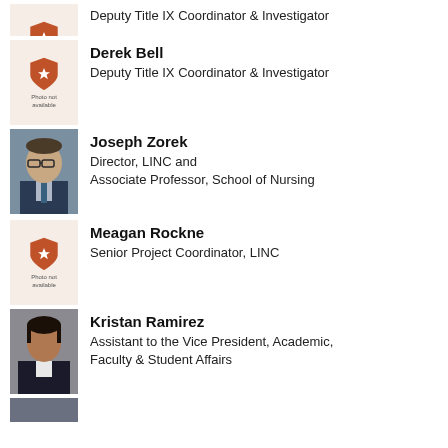[Figure (photo): Partial photo placeholder with orange shield icon at top of page (cut off)]
Deputy Title IX Coordinator & Investigator
[Figure (photo): Photo placeholder with orange shield icon - Derek Bell]
Derek Bell
Deputy Title IX Coordinator & Investigator
[Figure (photo): Professional headshot of Joseph Zorek, man with glasses in suit]
Joseph Zorek
Director, LINC and
Associate Professor, School of Nursing
[Figure (photo): Photo placeholder with orange shield icon - Meagan Rockne]
Meagan Rockne
Senior Project Coordinator, LINC
[Figure (photo): Professional headshot of Kristan Ramirez, woman in dark blazer]
Kristan Ramirez
Assistant to the Vice President, Academic, Faculty & Student Affairs
[Figure (photo): Partial headshot at bottom of page (cut off)]